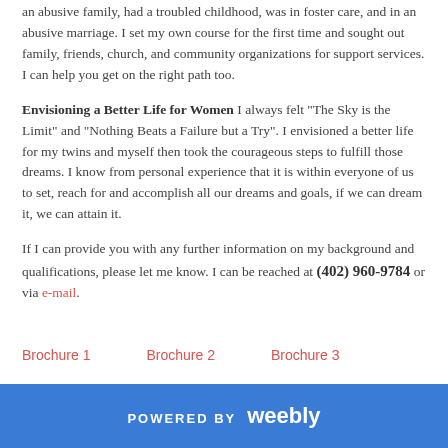an abusive family, had a troubled childhood, was in foster care, and in an abusive marriage. I set my own course for the first time and sought out family, friends, church, and community organizations for support services. I can help you get on the right path too.
Envisioning a Better Life for Women I always felt "The Sky is the Limit" and "Nothing Beats a Failure but a Try". I envisioned a better life for my twins and myself then took the courageous steps to fulfill those dreams. I know from personal experience that it is within everyone of us to set, reach for and accomplish all our dreams and goals, if we can dream it, we can attain it.
If I can provide you with any further information on my background and qualifications, please let me know. I can be reached at (402) 960-9784 or via e-mail.
Brochure 1
Brochure 2
Brochure 3
POWERED BY weebly